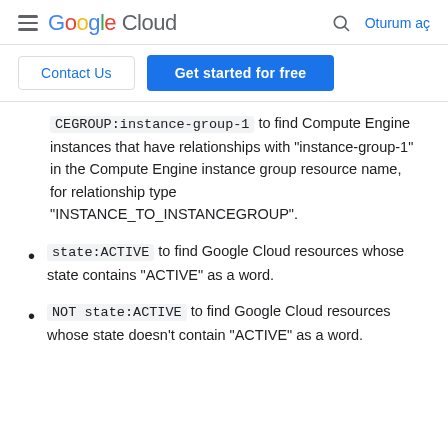Google Cloud  [search]  Oturum aç
Contact Us  |  Get started for free
CEGROUP:instance-group-1 to find Compute Engine instances that have relationships with "instance-group-1" in the Compute Engine instance group resource name, for relationship type "INSTANCE_TO_INSTANCEGROUP".
state:ACTIVE to find Google Cloud resources whose state contains "ACTIVE" as a word.
NOT state:ACTIVE to find Google Cloud resources whose state doesn't contain "ACTIVE" as a word.